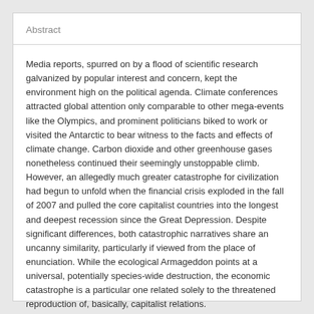Abstract
Media reports, spurred on by a flood of scientific research galvanized by popular interest and concern, kept the environment high on the political agenda. Climate conferences attracted global attention only comparable to other mega-events like the Olympics, and prominent politicians biked to work or visited the Antarctic to bear witness to the facts and effects of climate change. Carbon dioxide and other greenhouse gases nonetheless continued their seemingly unstoppable climb. However, an allegedly much greater catastrophe for civilization had begun to unfold when the financial crisis exploded in the fall of 2007 and pulled the core capitalist countries into the longest and deepest recession since the Great Depression. Despite significant differences, both catastrophic narratives share an uncanny similarity, particularly if viewed from the place of enunciation. While the ecological Armageddon points at a universal, potentially species-wide destruction, the economic catastrophe is a particular one related solely to the threatened reproduction of, basically, capitalist relations.